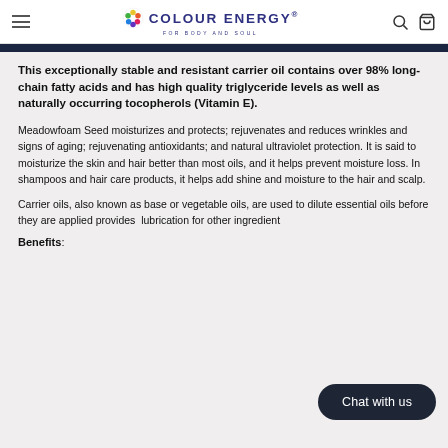COLOUR ENERGY® FOR BODY AND SOUL
This exceptionally stable and resistant carrier oil contains over 98% long-chain fatty acids and has high quality triglyceride levels as well as naturally occurring tocopherols (Vitamin E).
Meadowfoam Seed moisturizes and protects; rejuvenates and reduces wrinkles and signs of aging; rejuvenating antioxidants; and natural ultraviolet protection. It is said to moisturize the skin and hair better than most oils, and it helps prevent moisture loss. In shampoos and hair care products, it helps add shine and moisture to the hair and scalp.
Carrier oils, also known as base or vegetable oils, are used to dilute essential oils before they are applied provides lubrication for other ingredient
Benefits: